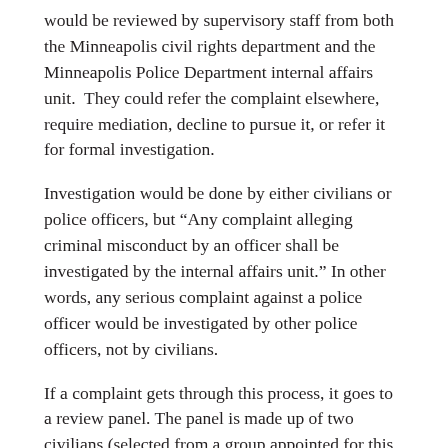would be reviewed by supervisory staff from both the Minneapolis civil rights department and the Minneapolis Police Department internal affairs unit.  They could refer the complaint elsewhere, require mediation, decline to pursue it, or refer it for formal investigation.
Investigation would be done by either civilians or police officers, but “Any complaint alleging criminal misconduct by an officer shall be investigated by the internal affairs unit.” In other words, any serious complaint against a police officer would be investigated by other police officers, not by civilians.
If a complaint gets through this process, it goes to a review panel. The panel is made up of two civilians (selected from a group appointed for this purpose by the mayor and city council) and two police officers. The panel is not allowed to